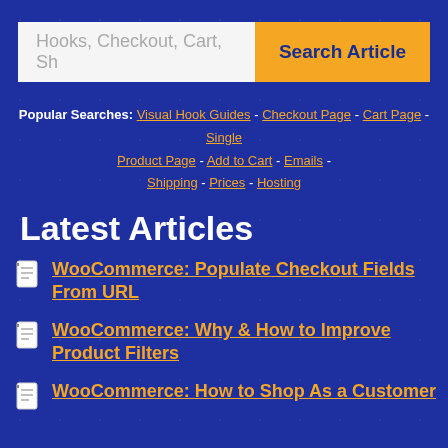[Figure (screenshot): Search bar with placeholder text 'Hooks, Checkout, Cart, Sh' and an orange 'Search Article' button]
Popular Searches: Visual Hook Guides - Checkout Page - Cart Page - Single Product Page - Add to Cart - Emails - Shipping - Prices - Hosting
Latest Articles
WooCommerce: Populate Checkout Fields From URL
WooCommerce: Why & How to Improve Product Filters
WooCommerce: How to Shop As a Customer